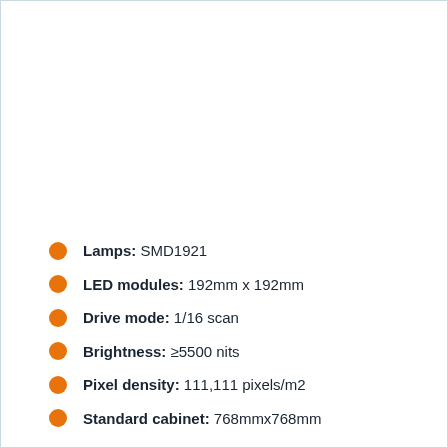Lamps: SMD1921
LED modules: 192mm x 192mm
Drive mode: 1/16 scan
Brightness: ≥5500 nits
Pixel density: 111,111 pixels/m2
Standard cabinet: 768mmx768mm